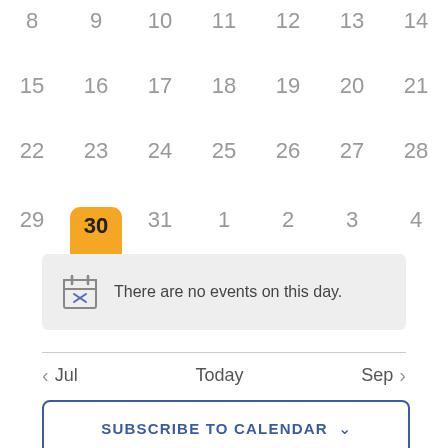[Figure (other): Calendar view showing dates 8-14, 15-21, 22-28, and 29-4, with date 30 highlighted in orange/yellow. Below the calendar is a message box saying 'There are no events on this day.' Navigation buttons for Jul, Today, Sep are shown, plus a Subscribe to Calendar button.]
There are no events on this day.
‹ Jul
Today
Sep ›
SUBSCRIBE TO CALENDAR ∨